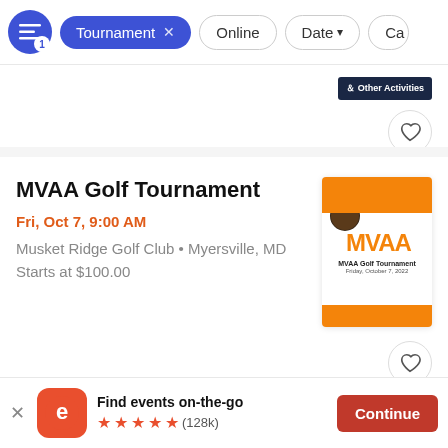[Figure (screenshot): Filter bar with active 'Tournament' chip, 'Online', 'Date', and partially visible chip buttons]
[Figure (screenshot): Partial event card top with 'Other Activities' badge and heart button]
MVAA Golf Tournament
Fri, Oct 7, 9:00 AM
Musket Ridge Golf Club • Myersville, MD
Starts at $100.00
[Figure (illustration): MVAA Golf Tournament event poster thumbnail with orange top and bottom bands, MVAA logo, and text]
Find events on-the-go
★★★★★ (128k)
Continue